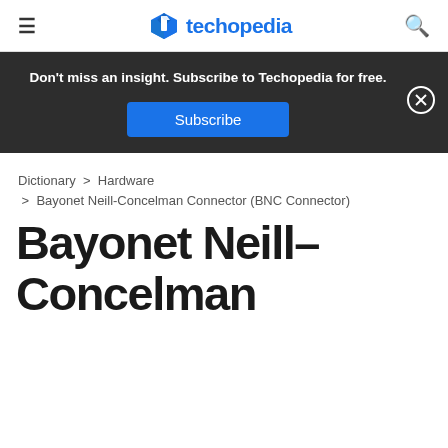techopedia
Don't miss an insight. Subscribe to Techopedia for free. [Subscribe button]
Dictionary > Hardware
> Bayonet Neill-Concelman Connector (BNC Connector)
Bayonet Neill-Concelman